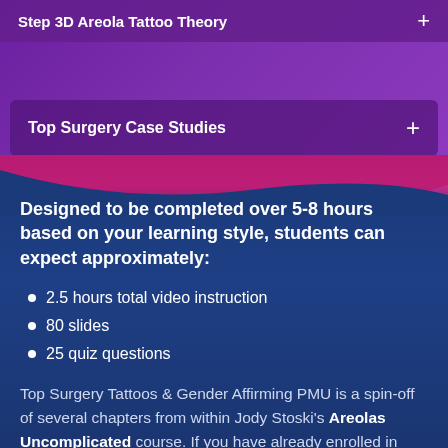Top Surgery Case Studies +
Designed to be completed over 5-8 hours based on your learning style, students can expect approximately:
2.5 hours total video instruction
80 slides
25 quiz questions
Top Surgery Tattoos & Gender Affirming PMU is a spin-off of several chapters from within Jody Stoski's Areolas Uncomplicated course. If you have already enrolled in Areolas Uncomplicated